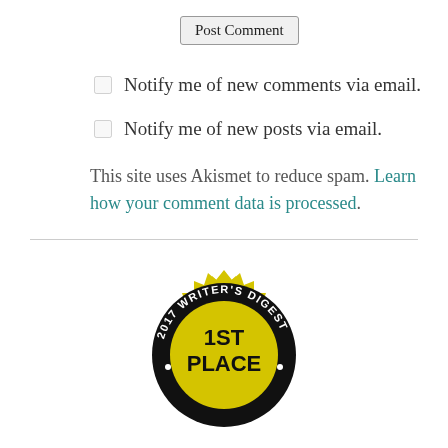Post Comment
Notify me of new comments via email.
Notify me of new posts via email.
This site uses Akismet to reduce spam. Learn how your comment data is processed.
[Figure (illustration): 2017 Writer's Digest 1st Place award seal — a gold starburst medallion with black band reading '2017 WRITER'S DIGEST' and '1ST PLACE' text in the center gold area.]